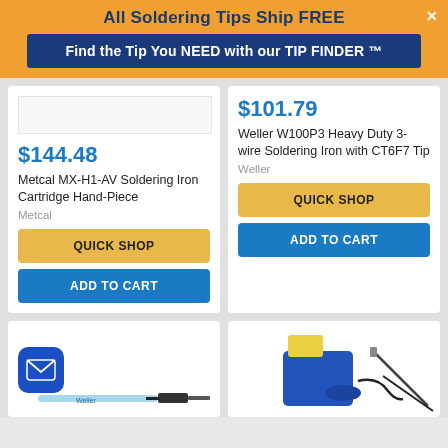All Soldering Tips Ship FREE
Find the Tip You NEED with our TIP FINDER ™
[Figure (photo): Product image area for Metcal MX-H1-AV (partially visible, mostly white)]
$144.48
Metcal MX-H1-AV Soldering Iron Cartridge Hand-Piece
Metcal
QUICK SHOP
ADD TO CART
$101.79
Weller W100P3 Heavy Duty 3-wire Soldering Iron with CT6F7 Tip
Weller
QUICK SHOP
ADD TO CART
[Figure (photo): Soldering iron product image with Weller branding, mail icon overlay]
[Figure (photo): Blue soldering station kit with yellow sponge and accessories]